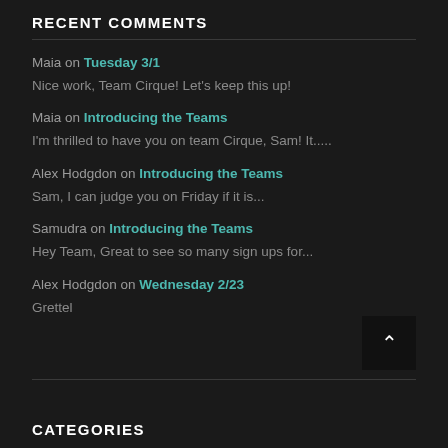RECENT COMMENTS
Maia on Tuesday 3/1
Nice work, Team Cirque! Let's keep this up!
Maia on Introducing the Teams
I'm thrilled to have you on team Cirque, Sam! It.....
Alex Hodgdon on Introducing the Teams
Sam, I can judge you on Friday if it is...
Samudra on Introducing the Teams
Hey Team, Great to see so many sign ups for...
Alex Hodgdon on Wednesday 2/23
Grettel
CATEGORIES